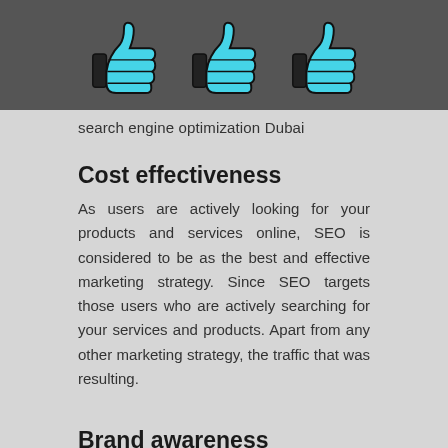[Figure (illustration): Dark gray background image showing three cyan/turquoise thumbs-up icons with black outlines arranged in a row]
search engine optimization Dubai
Cost effectiveness
As users are actively looking for your products and services online, SEO is considered to be as the best and effective marketing strategy. Since SEO targets those users who are actively searching for your services and products. Apart from any other marketing strategy, the traffic that was resulting.
Brand awareness
SEO helps your business to become top of the search